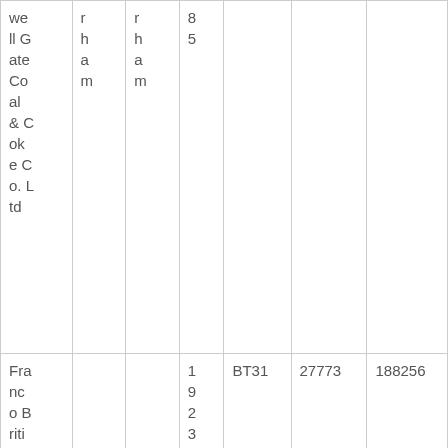| we ll G ate Co al & C ok e C o. L td | r h a m | r h a m | 8 5 |  |  |  |
| Fra nc o B riti sh Co |  |  | 1 9 2 3 | BT31 | 27773 | 188256 |